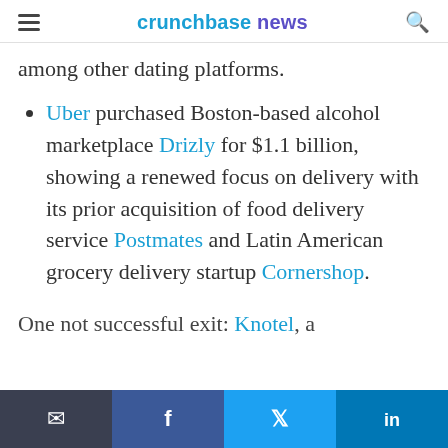crunchbase news
among other dating platforms.
Uber purchased Boston-based alcohol marketplace Drizly for $1.1 billion, showing a renewed focus on delivery with its prior acquisition of food delivery service Postmates and Latin American grocery delivery startup Cornershop.
One not successful exit: Knotel, a